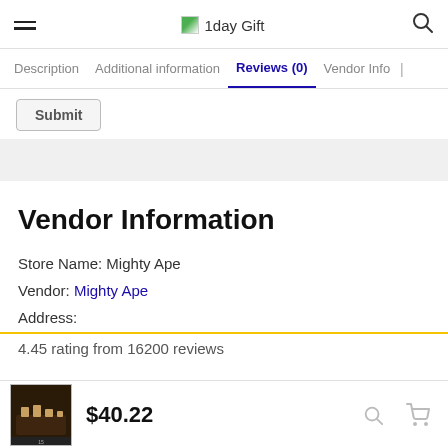1day Gift
Description | Additional information | Reviews (0) | Vendor Info |
Submit
Vendor Information
Store Name: Mighty Ape
Vendor: Mighty Ape
Address:
4.45 rating from 16200 reviews
$40.22